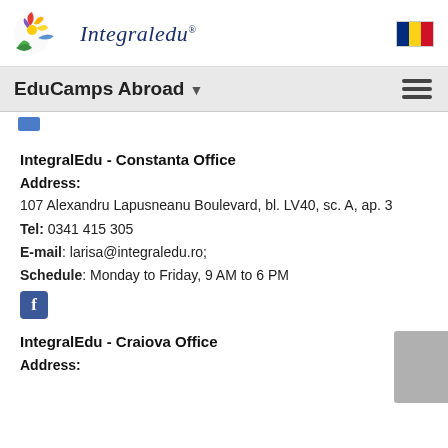[Figure (logo): IntegralEdu logo with colorful flower/bird icon and handwritten-style text]
[Figure (illustration): Romanian national flag (blue, yellow, red vertical stripes)]
EduCamps Abroad ▾
[Figure (illustration): Small blue navigation link box]
IntegralEdu - Constanta Office
Address:
107 Alexandru Lapusneanu Boulevard, bl. LV40, sc. A, ap. 3
Tel: 0341 415 305
E-mail: larisa@integraledu.ro;
Schedule: Monday to Friday, 9 AM to 6 PM
[Figure (logo): Facebook icon button (blue square with white f)]
IntegralEdu - Craiova Office
Address:
[Figure (other): Gray scroll indicator bar on the right side]